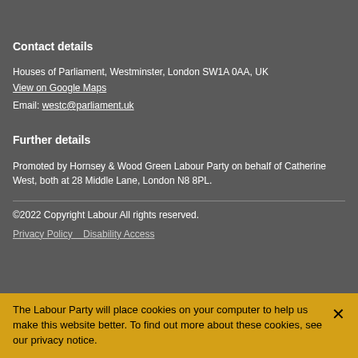Contact details
Houses of Parliament, Westminster, London SW1A 0AA, UK
View on Google Maps
Email: westc@parliament.uk
Further details
Promoted by Hornsey & Wood Green Labour Party on behalf of Catherine West, both at 28 Middle Lane, London N8 8PL.
©2022 Copyright Labour All rights reserved.
Privacy Policy    Disability Access
The Labour Party will place cookies on your computer to help us make this website better. To find out more about these cookies, see our privacy notice.